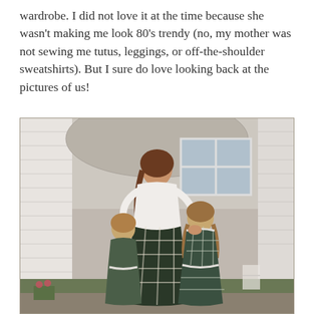wardrobe. I did not love it at the time because she wasn't making me look 80's trendy (no, my mother was not sewing me tutus, leggings, or off-the-shoulder sweatshirts). But I sure do love looking back at the pictures of us!
[Figure (photo): A vintage photograph (likely 1980s) of a mother and her two young daughters standing outside in front of a white house. The mother wears a white blouse and a dark plaid/gingham skirt. Both daughters wear matching dark gingham dresses with white lace trim. They are standing on a patio area. A large umbrella is visible above them.]